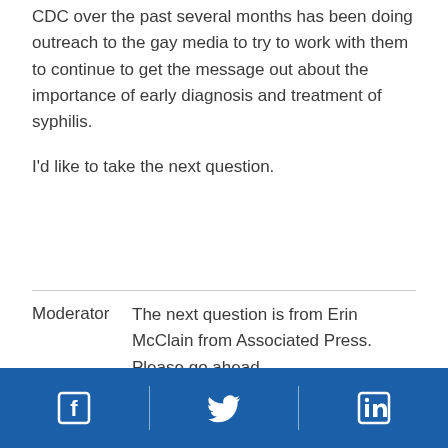CDC over the past several months has been doing outreach to the gay media to try to work with them to continue to get the message out about the importance of early diagnosis and treatment of syphilis.

I'd like to take the next question.
Moderator
The next question is from Erin McClain from Associated Press. Please go ahead.
[Figure (infographic): Blue footer bar with Facebook, Twitter, and LinkedIn social media icons separated by vertical dividers]